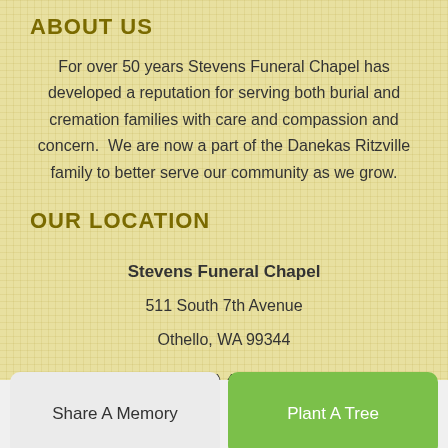ABOUT US
For over 50 years Stevens Funeral Chapel has developed a reputation for serving both burial and cremation families with care and compassion and concern. We are now a part of the Danekas Ritzville family to better serve our community as we grow.
OUR LOCATION
Stevens Funeral Chapel
511 South 7th Avenue
Othello, WA 99344
Tel: (509) 488-3341
Share A Memory
Plant A Tree